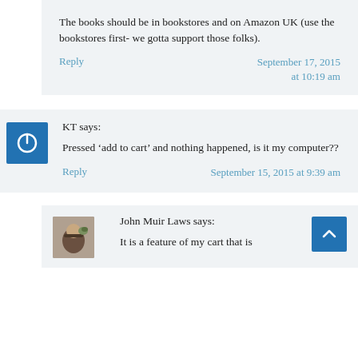The books should be in bookstores and on Amazon UK (use the bookstores first- we gotta support those folks).
Reply    September 17, 2015 at 10:19 am
KT says:
Pressed ‘add to cart’ and nothing happened, is it my computer??
Reply    September 15, 2015 at 9:39 am
John Muir Laws says:
It is a feature of my cart that is